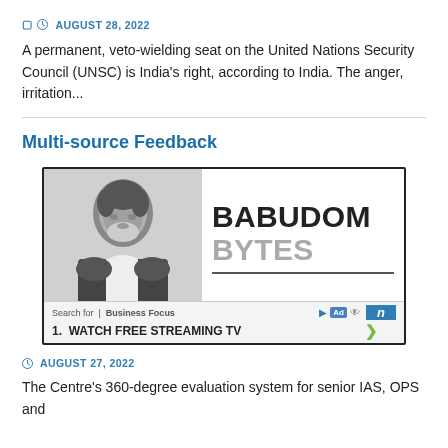AUGUST 28, 2022
A permanent, veto-wielding seat on the United Nations Security Council (UNSC) is India's right, according to India. The anger, irritation...
Multi-source Feedback
[Figure (photo): Advertisement image showing a man (Babudom Bytes) with text 'BABUDOM BYTES' and a search ad for 'Business Focus' with '1. WATCH FREE STREAMING TV']
AUGUST 27, 2022
The Centre's 360-degree evaluation system for senior IAS, OPS and